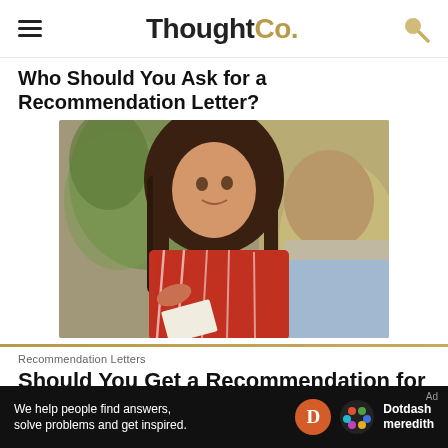ThoughtCo.
Who Should You Ask for a Recommendation Letter?
[Figure (photo): A young woman with long dark hair wearing a red striped shirt, talking to a man, appearing to ask about a recommendation letter.]
Recommendation Letters
Should You Get a Recommendation for Grad School from Your Therapist?
Ad  We help people find answers, solve problems and get inspired.  Dotdash meredith